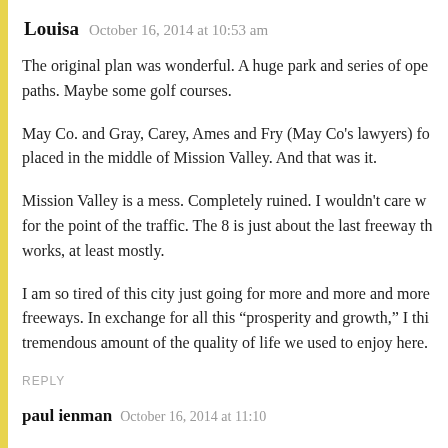Louisa   October 16, 2014 at 10:53 am
The original plan was wonderful. A huge park and series of ope paths. Maybe some golf courses.
May Co. and Gray, Carey, Ames and Fry (May Co’s lawyers) fo placed in the middle of Mission Valley. And that was it.
Mission Valley is a mess. Completely ruined. I wouldn’t care w for the point of the traffic. The 8 is just about the last freeway th works, at least mostly.
I am so tired of this city just going for more and more and more freeways. In exchange for all this “prosperity and growth,” I thi tremendous amount of the quality of life we used to enjoy here.
REPLY
paul ienman   October 16, 2014 at 11:10